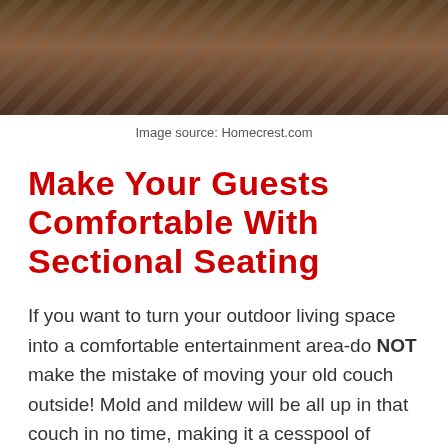[Figure (photo): Photo of outdoor furniture including chairs on a deck with a patterned rug, shown from a cropped top view]
Image source: Homecrest.com
Make Your Guests Comfortable With Sectional Seating
If you want to turn your outdoor living space into a comfortable entertainment area-do NOT make the mistake of moving your old couch outside! Mold and mildew will be all up in that couch in no time, making it a cesspool of bacteria and quarantined hazardous wasteland.